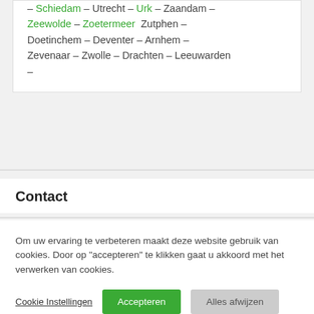– Schiedam – Utrecht – Urk – Zaandam – Zeewolde – Zoetermeer Zutphen – Doetinchem – Deventer – Arnhem – Zevenaar – Zwolle – Drachten – Leeuwarden –
Contact
Om uw ervaring te verbeteren maakt deze website gebruik van cookies. Door op "accepteren" te klikken gaat u akkoord met het verwerken van cookies.
Cookie Instellingen   Accepteren   Alles afwijzen